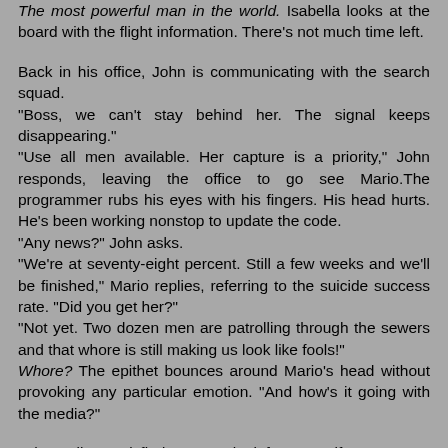The most powerful man in the world. Isabella looks at the board with the flight information. There's not much time left.
Back in his office, John is communicating with the search squad.
"Boss, we can't stay behind her. The signal keeps disappearing."
"Use all men available. Her capture is a priority," John responds, leaving the office to go see Mario.The programmer rubs his eyes with his fingers. His head hurts. He's been working nonstop to update the code.
"Any news?" John asks.
"We're at seventy-eight percent. Still a few weeks and we'll be finished," Mario replies, referring to the suicide success rate. "Did you get her?"
"Not yet. Two dozen men are patrolling through the sewers and that whore is still making us look like fools!"
Whore? The epithet bounces around Mario's head without provoking any particular emotion. "And how's it going with the media?"
John smiles, satisfied: "Have a look for yourself!" He waves